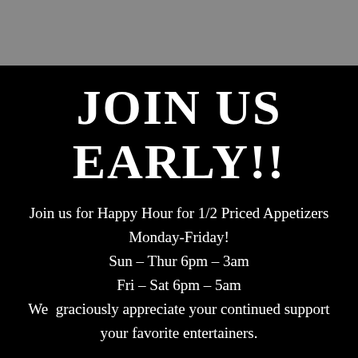JOIN US EARLY!!
Join us for Happy Hour for 1/2 Priced Appetizers Monday-Friday!
Sun – Thur 6pm – 3am
Fri – Sat 6pm – 5am
We  graciously appreciate your continued support your favorite entertainers.
[Figure (other): Gold/tan rounded button partially visible at bottom of page]